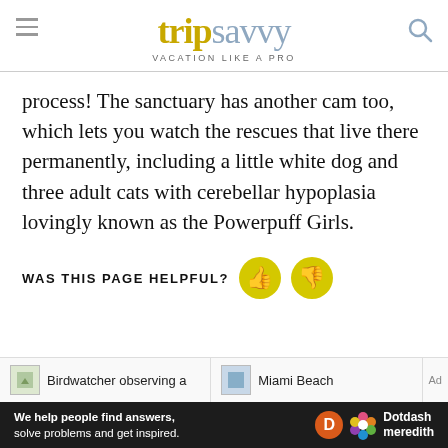tripsavvy — VACATION LIKE A PRO
process! The sanctuary has another cam too, which lets you watch the rescues that live there permanently, including a little white dog and three adult cats with cerebellar hypoplasia lovingly known as the Powerpuff Girls.
WAS THIS PAGE HELPFUL?
[Figure (other): Birdwatcher observing a thumbnail]
[Figure (other): Miami Beach thumbnail]
We help people find answers, solve problems and get inspired. Dotdash meredith